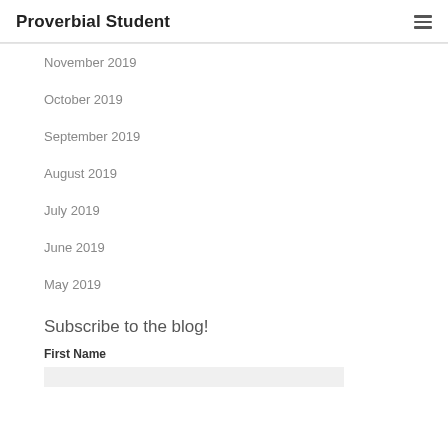Proverbial Student
November 2019
October 2019
September 2019
August 2019
July 2019
June 2019
May 2019
Subscribe to the blog!
First Name